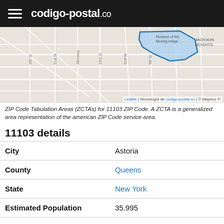codigo-postal.co
[Figure (map): Street map showing ZIP Code Tabulation Area for 11103 (Astoria, Queens, NY) highlighted in blue]
ZIP Code Tabulation Areas (ZCTAs) for 11103 ZIP Code. A ZCTA is a generalized area representation of the american ZIP Code service area.
11103 details
| Field | Value |
| --- | --- |
| City | Astoria |
| County | Queens |
| State | New York |
| Estimated Population | 35.995 |
| Density | 19.533,10 |
| Timezone | America/New_York |
| Latitude | 40.762660000 |
| Longitude | 73.913490000 |